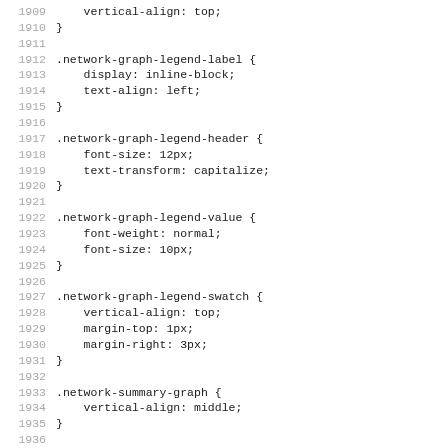Code listing showing CSS rules for network graph legend and related UI components, lines 1909-1941
1909     vertical-align: top;
1910 }
1911
1912 .network-graph-legend-label {
1913     display: inline-block;
1914     text-align: left;
1915 }
1916
1917 .network-graph-legend-header {
1918     font-size: 12px;
1919     text-transform: capitalize;
1920 }
1921
1922 .network-graph-legend-value {
1923     font-weight: normal;
1924     font-size: 10px;
1925 }
1926
1927 .network-graph-legend-swatch {
1928     vertical-align: top;
1929     margin-top: 1px;
1930     margin-right: 3px;
1931 }
1932
1933 .network-summary-graph {
1934     vertical-align: middle;
1935 }
1936
1937 .tip-button {
1938     background-image: url(Images/tipIcon.png);
1939     border: none;
1940     width: 16px;
1941     height: 16